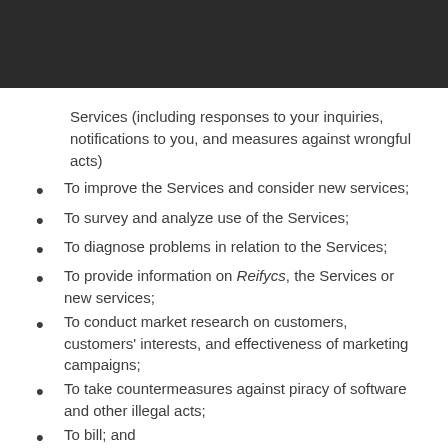Services (including responses to your inquiries, notifications to you, and measures against wrongful acts)
To improve the Services and consider new services;
To survey and analyze use of the Services;
To diagnose problems in relation to the Services;
To provide information on Reifycs, the Services or new services;
To conduct market research on customers, customers' interests, and effectiveness of marketing campaigns;
To take countermeasures against piracy of software and other illegal acts;
To bill; and
To conduct other acts incidental or related to the utilization purposes of the above.